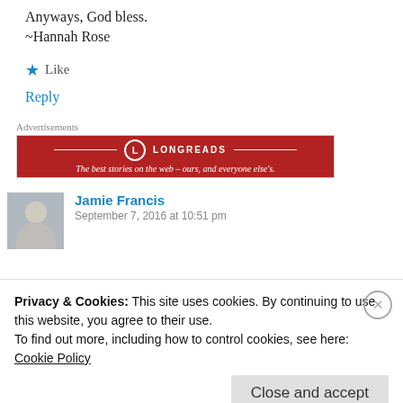Anyways, God bless.
~Hannah Rose
★ Like
Reply
Advertisements
[Figure (other): Longreads advertisement banner: red background with Longreads logo and text 'The best stories on the web – ours, and everyone else's.']
Jamie Francis
September 7, 2016 at 10:51 pm
Privacy & Cookies: This site uses cookies. By continuing to use this website, you agree to their use.
To find out more, including how to control cookies, see here:
Cookie Policy
Close and accept